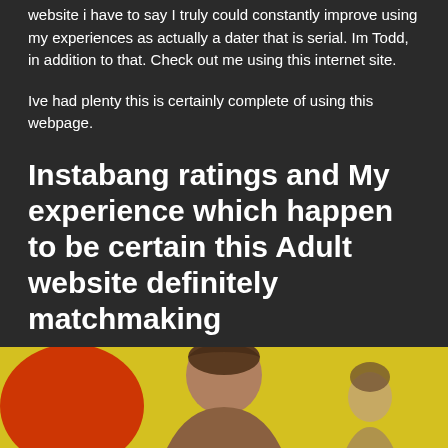website i have to say I truly could constantly improve using my experiences as actually a dater that is serial. Im Todd, in addition to that. Check out me using this internet site.
Ive had plenty this is certainly complete of using this webpage.
Instabang ratings and My experience which happen to be certain this Adult website definitely matchmaking
[Figure (photo): Photo of a man and another person in the background, with a yellow background and red element on the left side]